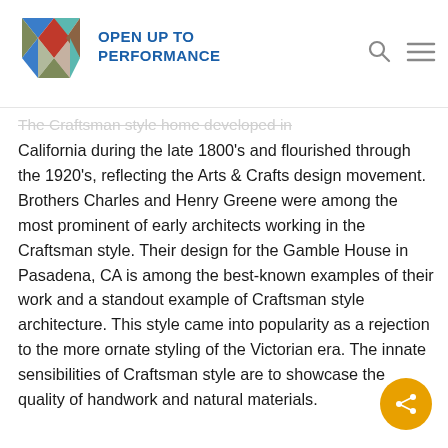OPEN UP TO PERFORMANCE
The Craftsman style home developed in California during the late 1800's and flourished through the 1920's, reflecting the Arts & Crafts design movement. Brothers Charles and Henry Greene were among the most prominent of early architects working in the Craftsman style. Their design for the Gamble House in Pasadena, CA is among the best-known examples of their work and a standout example of Craftsman style architecture. This style came into popularity as a rejection to the more ornate styling of the Victorian era. The innate sensibilities of Craftsman style are to showcase the quality of handwork and natural materials.